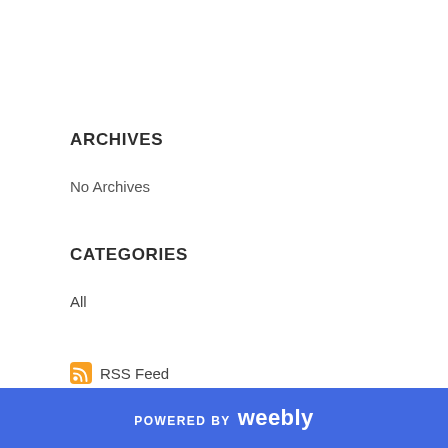ARCHIVES
No Archives
CATEGORIES
All
RSS Feed
POWERED BY weebly